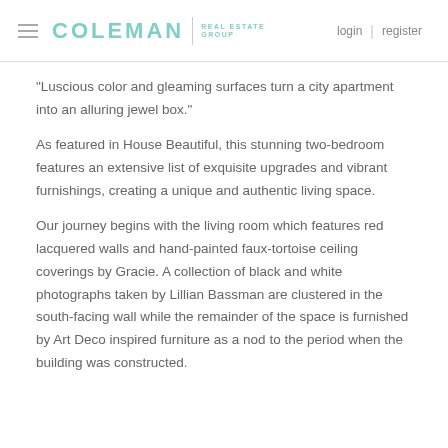COLEMAN REAL ESTATE GROUP | login | register
"Luscious color and gleaming surfaces turn a city apartment into an alluring jewel box."
As featured in House Beautiful, this stunning two-bedroom features an extensive list of exquisite upgrades and vibrant furnishings, creating a unique and authentic living space.
Our journey begins with the living room which features red lacquered walls and hand-painted faux-tortoise ceiling coverings by Gracie. A collection of black and white photographs taken by Lillian Bassman are clustered in the south-facing wall while the remainder of the space is furnished by Art Deco inspired furniture as a nod to the period when the building was constructed.